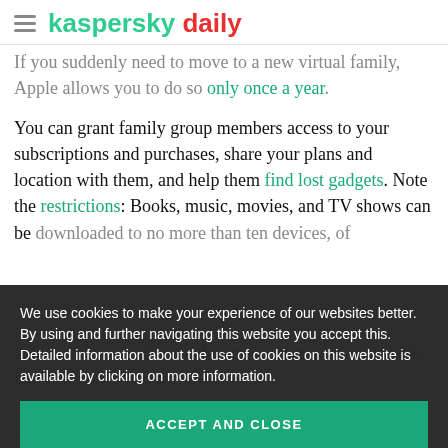kaspersky daily
If you suddenly need to move to a new virtual family, Apple allows you to do so only once a year.
You can grant family group members access to your subscriptions and purchases, share your plans and location with them, and help them find lost gadgets. Note the restrictions: Books, music, movies, and TV shows can be downloaded to no more than ten devices, of which no more than five can be computers (similar rules apply to apps); and second, some content is not available in all countries and regions, so if s… example, you might not be able to share
We use cookies to make your experience of our websites better. By using and further navigating this website you accept this. Detailed information about the use of cookies on this website is available by clicking on more information.
ACCEPT AND CLOSE